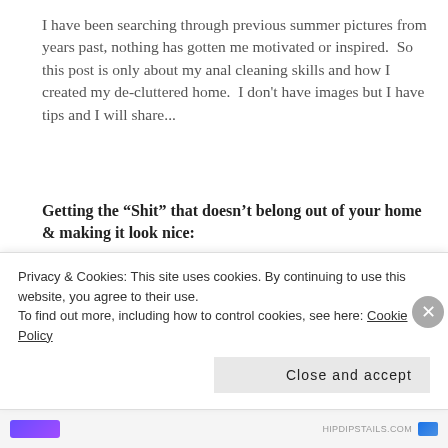I have been searching through previous summer pictures from years past, nothing has gotten me motivated or inspired.  So this post is only about my anal cleaning skills and how I created my de-cluttered home.  I don't have images but I have tips and I will share...
Getting the “Shit” that doesn’t belong out of your home & making it look nice:
Do one room a week.  Start with the bathroom, under sinks and in the linen closets.  Move to bedrooms, living spaces, the kitchen and then the garage.  Only do
Privacy & Cookies: This site uses cookies. By continuing to use this website, you agree to their use.
To find out more, including how to control cookies, see here: Cookie Policy
Close and accept